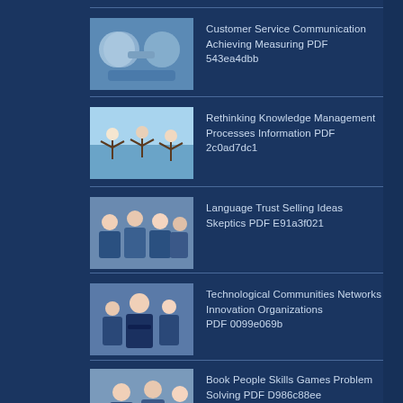Customer Service Communication Achieving Measuring PDF 543ea4dbb
Rethinking Knowledge Management Processes Information PDF 2c0ad7dc1
Language Trust Selling Ideas Skeptics PDF E91a3f021
Technological Communities Networks Innovation Organizations PDF 0099e069b
Managing Satisfaction Information Communication Technologies PDF 94478c81b
Book People Skills Games Problem Solving PDF D986c88ee